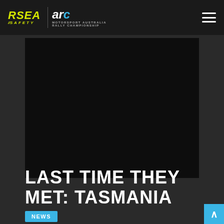RSEA Safety | ARC Motorsport Australia Rally Championship
[Figure (photo): Dark/black background photo panel, content not visible]
LAST TIME THEY MET: TASMANIA
NEWS